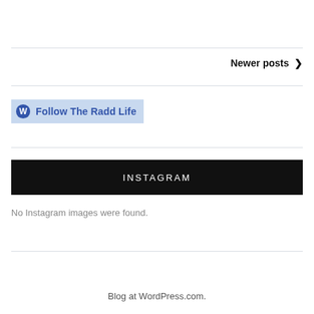Newer posts >
[Figure (other): WordPress Follow button with W logo and text 'Follow The Radd Life' on blue background]
INSTAGRAM
No Instagram images were found.
Blog at WordPress.com.